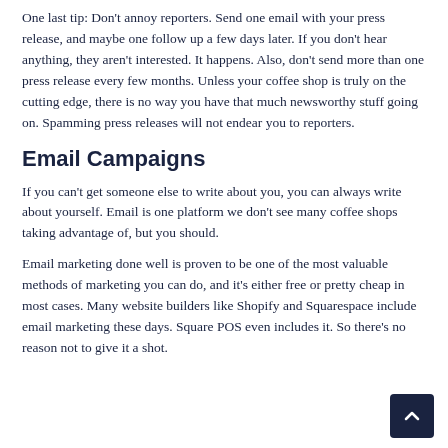One last tip: Don't annoy reporters. Send one email with your press release, and maybe one follow up a few days later. If you don't hear anything, they aren't interested. It happens. Also, don't send more than one press release every few months. Unless your coffee shop is truly on the cutting edge, there is no way you have that much newsworthy stuff going on. Spamming press releases will not endear you to reporters.
Email Campaigns
If you can't get someone else to write about you, you can always write about yourself. Email is one platform we don't see many coffee shops taking advantage of, but you should.
Email marketing done well is proven to be one of the most valuable methods of marketing you can do, and it's either free or pretty cheap in most cases. Many website builders like Shopify and Squarespace include email marketing these days. Square POS even includes it. So there's no reason not to give it a shot.